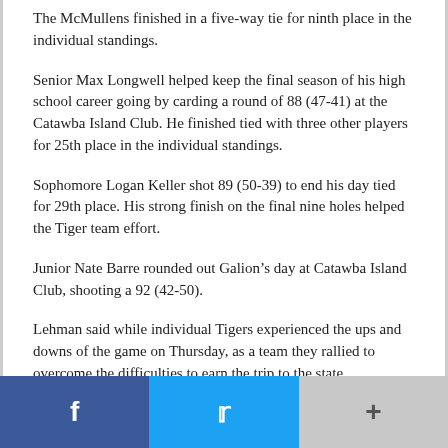The McMullens finished in a five-way tie for ninth place in the individual standings.
Senior Max Longwell helped keep the final season of his high school career going by carding a round of 88 (47-41) at the Catawba Island Club. He finished tied with three other players for 25th place in the individual standings.
Sophomore Logan Keller shot 89 (50-39) to end his day tied for 29th place. His strong finish on the final nine holes helped the Tiger team effort.
Junior Nate Barre rounded out Galion’s day at Catawba Island Club, shooting a 92 (42-50).
Lehman said while individual Tigers experienced the ups and downs of the game on Thursday, as a team they rallied to overcome the difficulties to earn the trip to the state tournament on Thursday. He said it was a “nerve-wracking”